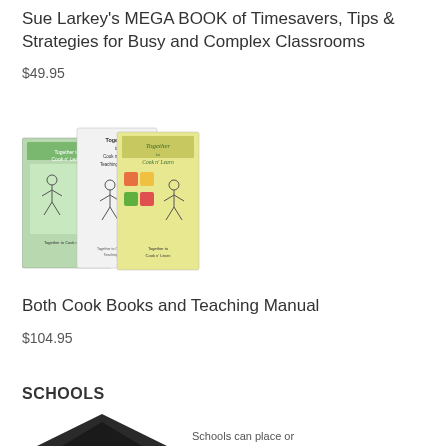Sue Larkey's MEGA BOOK of Timesavers, Tips & Strategies for Busy and Complex Classrooms
$49.95
[Figure (photo): Three book covers: two 'Together to Cook n' Learn' books and one 'Together to Cook n' Learn Teaching Manual']
Both Cook Books and Teaching Manual
$104.95
SCHOOLS
[Figure (logo): Dark triangle/mountain logo icon with partial text below]